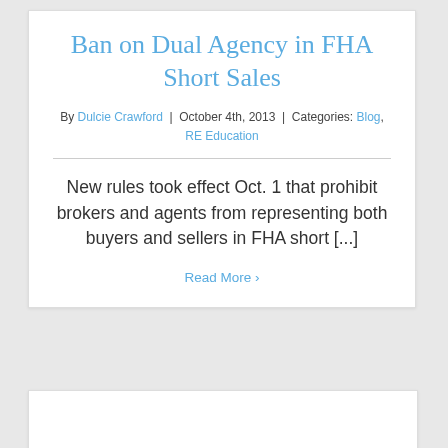Ban on Dual Agency in FHA Short Sales
By Dulcie Crawford | October 4th, 2013 | Categories: Blog, RE Education
New rules took effect Oct. 1 that prohibit brokers and agents from representing both buyers and sellers in FHA short [...]
Read More ›